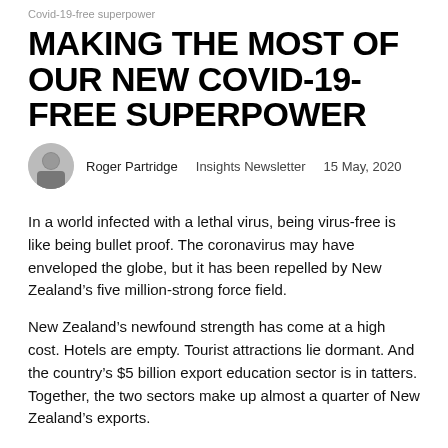Covid-19-free superpower
MAKING THE MOST OF OUR NEW COVID-19-FREE SUPERPOWER
Roger Partridge   Insights Newsletter   15 May, 2020
In a world infected with a lethal virus, being virus-free is like being bullet proof. The coronavirus may have enveloped the globe, but it has been repelled by New Zealand's five million-strong force field.
New Zealand's newfound strength has come at a high cost. Hotels are empty. Tourist attractions lie dormant. And the country's $5 billion export education sector is in tatters. Together, the two sectors make up almost a quarter of New Zealand's exports.